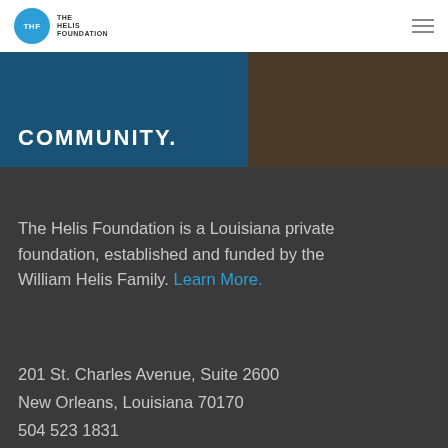THE HELIS FOUNDATION
[Figure (logo): The Helis Foundation circular blue logo with THF initials and organization name]
COMMUNITY.
[Figure (photo): Person standing in front of blue wall with artwork]
The Helis Foundation is a Louisiana private foundation, established and funded by the William Helis Family. Learn More.
201 St. Charles Avenue, Suite 2600
New Orleans, Louisiana 70170
504 523 1831